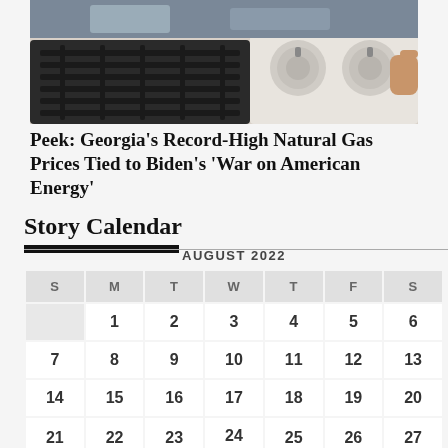[Figure (photo): Close-up photo of a stove gas burner knobs, white in color]
Peek: Georgia's Record-High Natural Gas Prices Tied to Biden's 'War on American Energy'
Story Calendar
| S | M | T | W | T | F | S |
| --- | --- | --- | --- | --- | --- | --- |
|  | 1 | 2 | 3 | 4 | 5 | 6 |
| 7 | 8 | 9 | 10 | 11 | 12 | 13 |
| 14 | 15 | 16 | 17 | 18 | 19 | 20 |
| 21 | 22 | 23 | 24 | 25 | 26 | 27 |